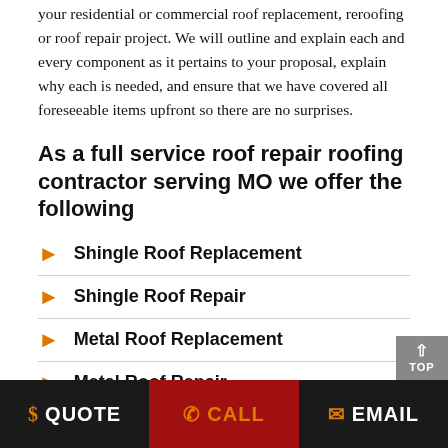your residential or commercial roof replacement, reroofing or roof repair project. We will outline and explain each and every component as it pertains to your proposal, explain why each is needed, and ensure that we have covered all foreseeable items upfront so there are no surprises.
As a full service roof repair roofing contractor serving MO we offer the following
Shingle Roof Replacement
Shingle Roof Repair
Metal Roof Replacement
Metal Roof Repair
$ QUOTE   CALL   EMAIL